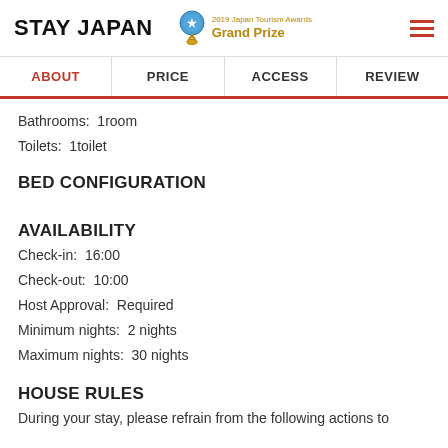STAY JAPAN — 2019 Japan Tourism Awards Grand Prize
Bathrooms:  1room
Toilets:  1toilet
BED CONFIGURATION
AVAILABILITY
Check-in:  16:00
Check-out:  10:00
Host Approval:  Required
Minimum nights:  2 nights
Maximum nights:  30 nights
HOUSE RULES
During your stay, please refrain from the following actions to